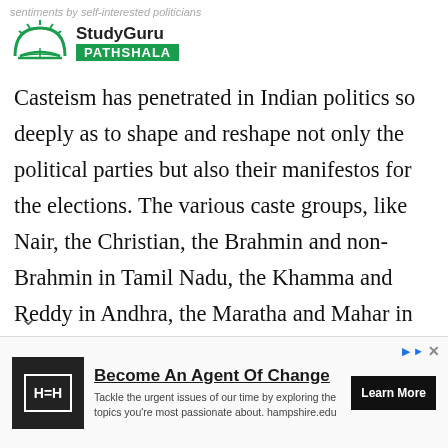sentiments by self-interested politicians
[Figure (logo): StudyGuru Pathshala logo with green semicircle sun/book icon and green PATHSHALA badge]
Casteism has penetrated in Indian politics so deeply as to shape and reshape not only the political parties but also their manifestos for the elections. The various caste groups, like Nair, the Christian, the Brahmin and non-Brahmin in Tamil Nadu, the Khamma and Reddy in Andhra, the Maratha and Mahar in Maharashtra, the Rajput in Gujarat, the Jat, Rajput, Meena, Brahmin and Viasya in Rajasthan, have been formed likewise in all states and determine the political scenario in the
[Figure (infographic): Advertisement banner: Become An Agent Of Change. Hampshire.edu. Learn More button. Black square logo with H=H symbol.]